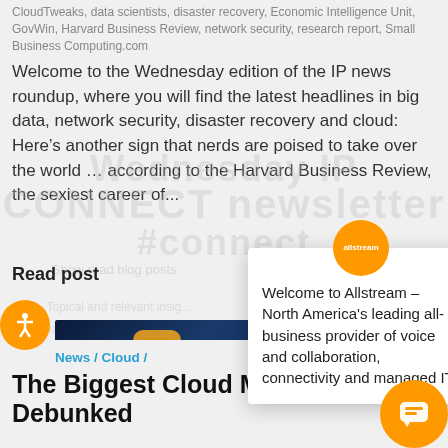CloudTweaks, data scientists, disaster recovery, Economic Intelligence Unit, GovWin, Harvard Business Review, network security, research report, Small Business Computing.com
Welcome to the Wednesday edition of the IP news roundup, where you will find the latest headlines in big data, network security, disaster recovery and cloud: Here’s another sign that nerds are poised to take over the world … according to the Harvard Business Review, the sexiest career of...
Read post
[Figure (screenshot): Screenshot of a webpage with app icons on a tablet device, colorful 3D app icons on dark background]
News / Cloud /
The Biggest Cloud Myths Are Debunked
By Rachel Foster / October 3, 2012
Tags: cloud benefits, cloud computing, cloud storage, CloudTweaks, HP, Iron Mountain, Microsoft, Peak Sales Recruiting, survey, UK
[Figure (infographic): Allstream popup dialog: orange circular logo with 'allstream' text, close X button, text reading 'Welcome to Allstream – North America’s leading all-business provider of voice and collaboration, connectivity and managed IT.']